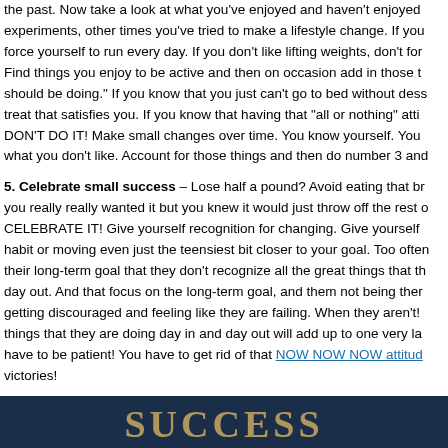the past. Now take a look at what you've enjoyed and haven't enjoyed experiments, other times you've tried to make a lifestyle change. If you force yourself to run every day. If you don't like lifting weights, don't fo Find things you enjoy to be active and then on occasion add in those t should be doing." If you know that you just can't go to bed without des treat that satisfies you. If you know that having that "all or nothing" att DON'T DO IT! Make small changes over time. You know yourself. You what you don't like. Account for those things and then do number 3 an
5. Celebrate small success – Lose half a pound? Avoid eating that br you really really wanted it but you knew it would just throw off the rest CELEBRATE IT! Give yourself recognition for changing. Give yourself habit or moving even just the teensiest bit closer to your goal. Too ofte their long-term goal that they don't recognize all the great things that th day out. And that focus on the long-term goal, and them not being ther getting discouraged and feeling like they are failing. When they aren't! things that they are doing day in and day out will add up to one very la have to be patient! You have to get rid of that NOW NOW NOW attitud victories!
[Figure (photo): Dark navy blue image with gold/yellow text showing 'SUCCESS' partially visible at the bottom of the page]